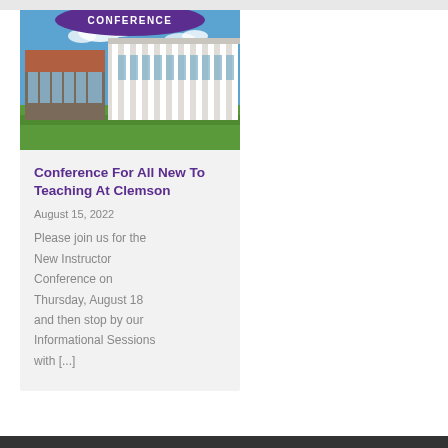[Figure (photo): Photo of a modern university building with glass facades and white columns, green lawn in foreground, blue sky with clouds. Purple banner at top reads 'CONFERENCE'.]
Conference For All New To Teaching At Clemson
August 15, 2022
Please join us for the New Instructor Conference on Thursday, August 18 and then stop by our Informational Sessions with [...]